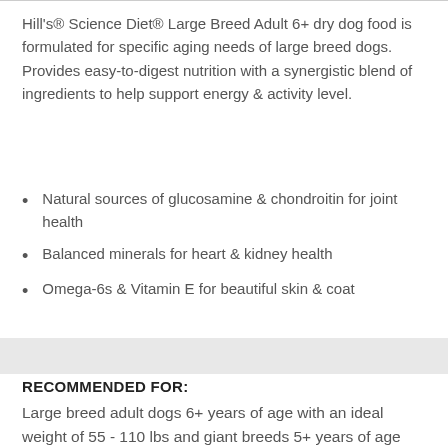Hill's® Science Diet® Large Breed Adult 6+ dry dog food is formulated for specific aging needs of large breed dogs. Provides easy-to-digest nutrition with a synergistic blend of ingredients to help support energy & activity level.
Natural sources of glucosamine & chondroitin for joint health
Balanced minerals for heart & kidney health
Omega-6s & Vitamin E for beautiful skin & coat
RECOMMENDED FOR:
Large breed adult dogs 6+ years of age with an ideal weight of 55 - 110 lbs and giant breeds 5+ years of age with an ideal weight of 110+